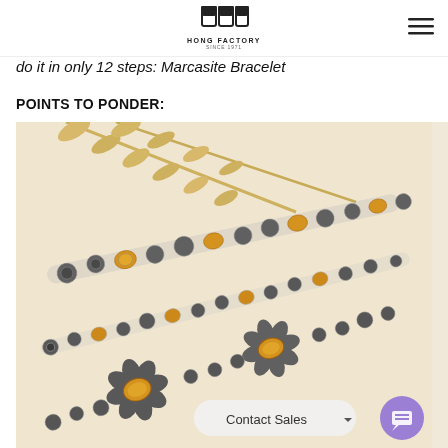HONG FACTORY SINCE 1971
do it in only 12 steps: Marcasite Bracelet
POINTS TO PONDER:
[Figure (photo): Close-up photograph of multiple marcasite bracelets with amber/citrine gemstones arranged diagonally on a cream background with wheat stalks. Features floral designs with marcasite pave settings and yellow oval/round gemstone accents. A 'Contact Sales' button and purple chat bubble are visible in the lower right corner.]